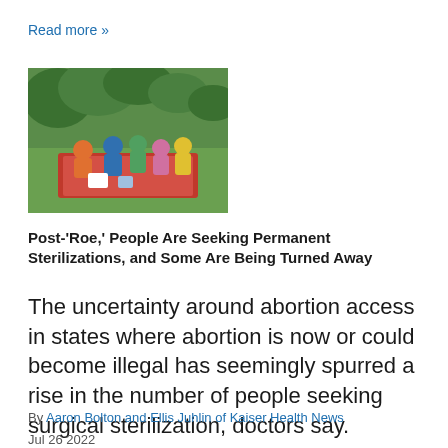Read more »
[Figure (photo): Group of people sitting on grass outdoors, appearing to be at a picnic or gathering]
Post-'Roe,' People Are Seeking Permanent Sterilizations, and Some Are Being Turned Away
The uncertainty around abortion access in states where abortion is now or could become illegal has seemingly spurred a rise in the number of people seeking surgical sterilization, doctors say.
By Aaron Bolton and Ellis Juhlin of Kaiser Health News
Jul 26 2022